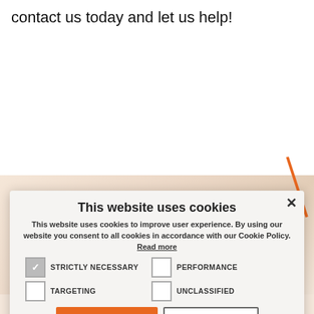contact us today and let us help!
[Figure (screenshot): Cookie consent modal dialog over a webpage showing a faded tool/wrench background image. Modal contains title 'This website uses cookies', descriptive text, four checkboxes (Strictly Necessary checked, Performance, Targeting, Unclassified), Accept All and Decline All buttons, and a Show Details option. A close X button is in the top right of the modal.]
This website uses cookies
This website uses cookies to improve user experience. By using our website you consent to all cookies in accordance with our Cookie Policy. Read more
STRICTLY NECESSARY
PERFORMANCE
TARGETING
UNCLASSIFIED
ACCEPT ALL
DECLINE ALL
SHOW DETAILS